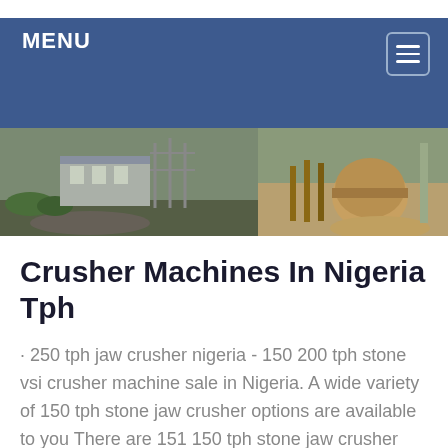MENU
[Figure (photo): Panoramic banner photo showing an industrial facility with buildings and machinery on the left, and construction/aggregate equipment including what appears to be a large conveyor or drum on the right.]
Crusher Machines In Nigeria Tph
· 250 tph jaw crusher nigeria - 150 200 tph stone vsi crusher machine sale in Nigeria. A wide variety of 150 tph stone jaw crusher options are available to you There are 151 150 tph stone jaw crusher suppliers mainly located in Asia The top supplying countries are China Mainland Turkey and India which supply 98 1 and 1 of 150 tph stone jaw crusher respectively Get Price 100 200 tph …